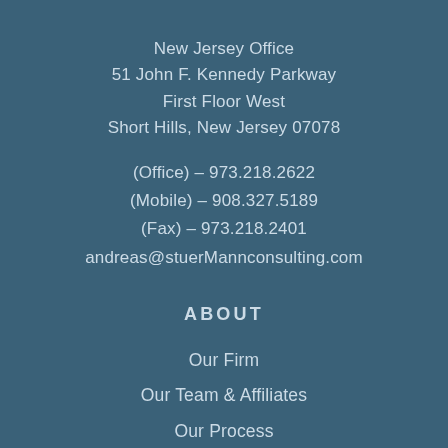New Jersey Office
51 John F. Kennedy Parkway
First Floor West
Short Hills, New Jersey 07078
(Office) – 973.218.2622
(Mobile) – 908.327.5189
(Fax) – 973.218.2401
andreas@stuerMannconsulting.com
ABOUT
Our Firm
Our Team & Affiliates
Our Process